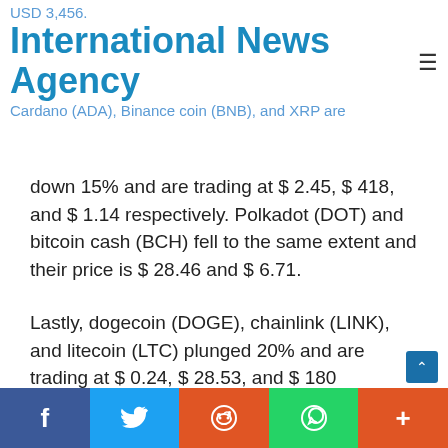USD 3,456. International News Agency Cardano (ADA), Binance coin (BNB), and XRP are
down 15% and are trading at $ 2.45, $ 418, and $ 1.14 respectively. Polkadot (DOT) and bitcoin cash (BCH) fell to the same extent and their price is $ 28.46 and $ 6.71.
Lastly, dogecoin (DOGE), chainlink (LINK), and litecoin (LTC) plunged 20% and are trading at $ 0.24, $ 28.53, and $ 180 respectively.
Tags: altcoin BINANCE bitcoin BTC CARDANO CHAINLINK crypto Cryptocurrency Dogecoin Ethereum Litecoin LTC Polkadot XRP